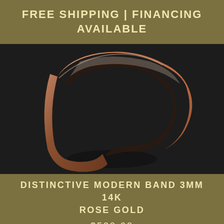FREE SHIPPING | FINANCING AVAILABLE
[Figure (photo): Close-up photograph of a rose gold ring band against a dark background, showing the curved band from above with warm pinkish-gold metallic finish.]
DISTINCTIVE MODERN BAND 3MM 14K ROSE GOLD
$530.00